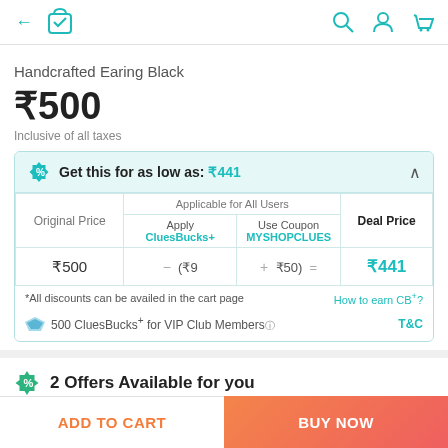← [cart icon] [search icon] [account icon] [cart icon]
Handcrafted Earing Black
₹500
Inclusive of all taxes
| Original Price | Apply CluesBucks+ | Use Coupon MYSHOPCLUES | Deal Price |
| --- | --- | --- | --- |
| ₹500 | (₹9 | ₹50) | ₹441 |
*All discounts can be availed in the cart page
How to earn CB+?
500 CluesBucks+ for VIP Club Members
T&C
2 Offers Available for you